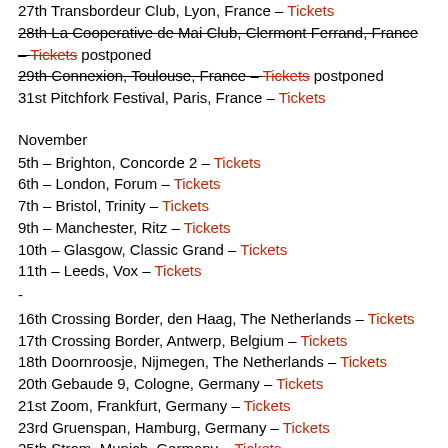27th Transbordeur Club, Lyon, France – Tickets
28th La Cooperative de Mai Club, Clermont Ferrand, France – Tickets postponed [strikethrough]
29th Connexion, Toulouse, France – Tickets postponed [strikethrough]
31st Pitchfork Festival, Paris, France – Tickets
November
5th – Brighton, Concorde 2 – Tickets
6th – London, Forum – Tickets
7th – Bristol, Trinity – Tickets
9th – Manchester, Ritz – Tickets
10th – Glasgow, Classic Grand – Tickets
11th – Leeds, Vox – Tickets
-
16th Crossing Border, den Haag, The Netherlands – Tickets
17th Crossing Border, Antwerp, Belgium – Tickets
18th Doornroosje, Nijmegen, The Netherlands – Tickets
20th Gebaude 9, Cologne, Germany – Tickets
21st Zoom, Frankfurt, Germany – Tickets
23rd Gruenspan, Hamburg, Germany – Tickets
25th Strom, Munich, Germany – Tickets
26th Flex, Vienna, Austria – Tickets